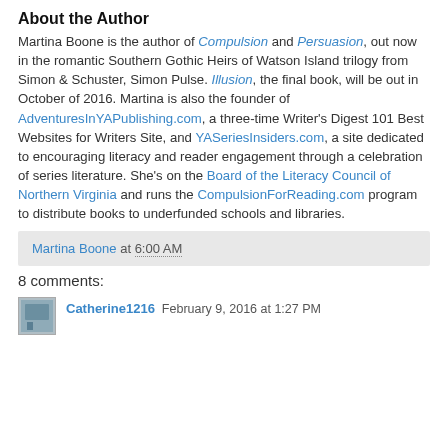About the Author
Martina Boone is the author of Compulsion and Persuasion, out now in the romantic Southern Gothic Heirs of Watson Island trilogy from Simon & Schuster, Simon Pulse. Illusion, the final book, will be out in October of 2016. Martina is also the founder of AdventuresInYAPublishing.com, a three-time Writer's Digest 101 Best Websites for Writers Site, and YASeriesInsiders.com, a site dedicated to encouraging literacy and reader engagement through a celebration of series literature. She's on the Board of the Literacy Council of Northern Virginia and runs the CompulsionForReading.com program to distribute books to underfunded schools and libraries.
Martina Boone at 6:00 AM
8 comments:
Catherine1216  February 9, 2016 at 1:27 PM